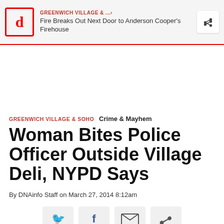GREENWICH VILLAGE & ... • Fire Breaks Out Next Door to Anderson Cooper's Firehouse
GREENWICH VILLAGE & SOHO  Crime & Mayhem
Woman Bites Police Officer Outside Village Deli, NYPD Says
By DNAinfo Staff on March 27, 2014 8:12am